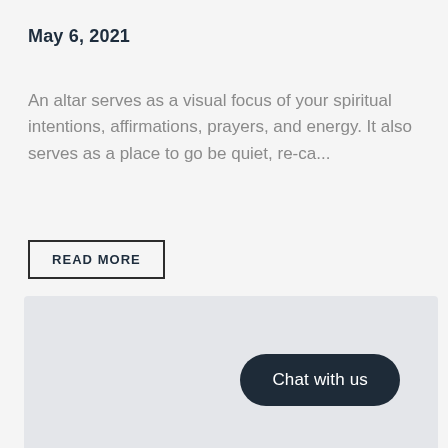May 6, 2021
An altar serves as a visual focus of your spiritual intentions, affirmations, prayers, and energy. It also serves as a place to go be quiet, re-ca...
READ MORE
[Figure (other): Light grey panel area with a 'Chat with us' button in the bottom right corner]